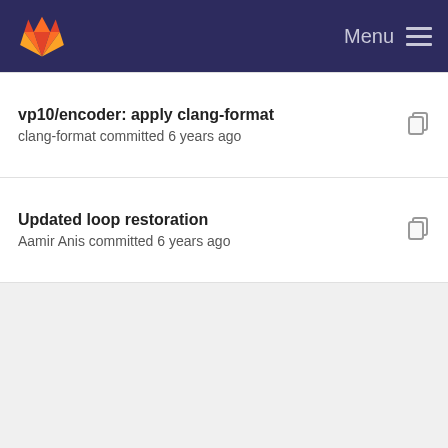GitLab — Menu
vp10/encoder: apply clang-format
clang-format committed 6 years ago
Updated loop restoration
Aamir Anis committed 6 years ago
Adding loop wiener restoration
Debargha Mukherjee committed 6 years ago
More cleanups / fixes on loop-restoration buffers
Debargha Mukherjee committed 5 years ago